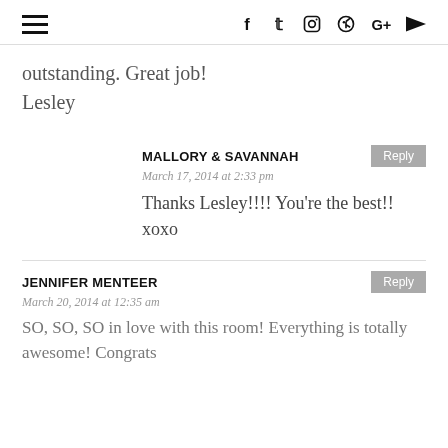≡ [social icons: f, twitter, instagram, pinterest, G+, youtube]
outstanding. Great job!
Lesley
MALLORY & SAVANNAH
March 17, 2014 at 2:33 pm
Thanks Lesley!!!! You're the best!!
xoxo
JENNIFER MENTEER
March 20, 2014 at 12:35 am
SO, SO, SO in love with this room! Everything is totally awesome! Congrats